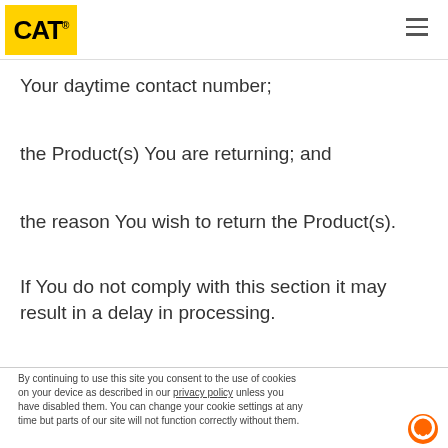CAT [logo]
Your daytime contact number;
the Product(s) You are returning; and
the reason You wish to return the Product(s).
If You do not comply with this section it may result in a delay in processing.
By continuing to use this site you consent to the use of cookies on your device as described in our privacy policy unless you have disabled them. You can change your cookie settings at any time but parts of our site will not function correctly without them.